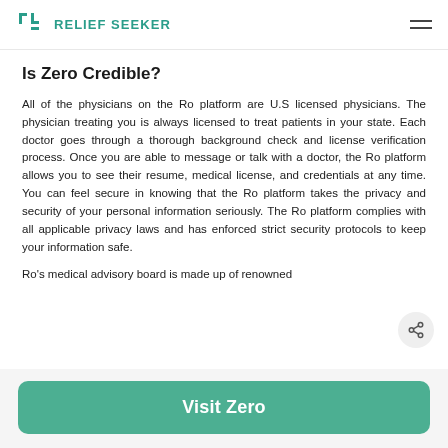RELIEF SEEKER
Is Zero Credible?
All of the physicians on the Ro platform are U.S licensed physicians. The physician treating you is always licensed to treat patients in your state. Each doctor goes through a thorough background check and license verification process. Once you are able to message or talk with a doctor, the Ro platform allows you to see their resume, medical license, and credentials at any time. You can feel secure in knowing that the Ro platform takes the privacy and security of your personal information seriously. The Ro platform complies with all applicable privacy laws and has enforced strict security protocols to keep your information safe.
Ro’s medical advisory board is made up of renowned
Visit Zero